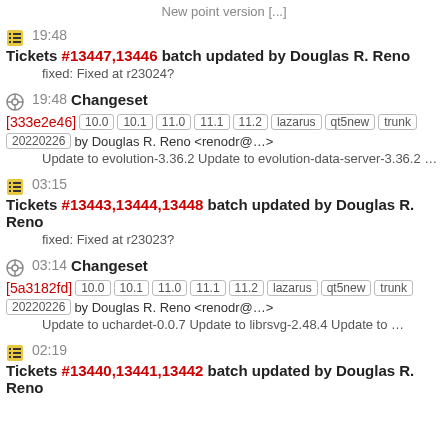New point version [...]
19:48 Tickets #13447,13446 batch updated by Douglas R. Reno
fixed: Fixed at r23024?
19:48 Changeset [333e2e46] 10.0 10.1 11.0 11.1 11.2 lazarus qt5new trunk 20220226 by Douglas R. Reno <renodr@…>
Update to evolution-3.36.2 Update to evolution-data-server-3.36.2 ...
03:15 Tickets #13443,13444,13448 batch updated by Douglas R. Reno
fixed: Fixed at r23023?
03:14 Changeset [5a3182fd] 10.0 10.1 11.0 11.1 11.2 lazarus qt5new trunk 20220226 by Douglas R. Reno <renodr@…>
Update to uchardet-0.0.7 Update to librsvg-2.48.4 Update to ...
02:19 Tickets #13440,13441,13442 batch updated by Douglas R. Reno